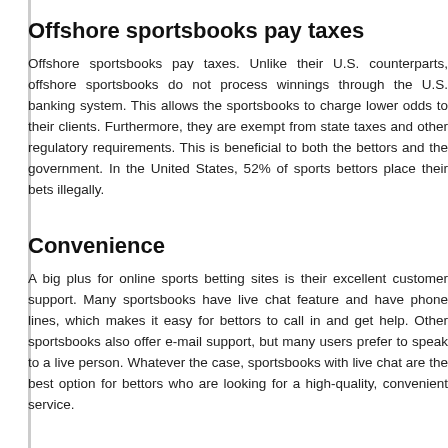Offshore sportsbooks pay taxes
Offshore sportsbooks pay taxes. Unlike their U.S. counterparts, offshore sportsbooks do not process winnings through the U.S. banking system. This allows the sportsbooks to charge lower odds to their clients. Furthermore, they are exempt from state taxes and other regulatory requirements. This is beneficial to both the bettors and the government. In the United States, 52% of sports bettors place their bets illegally.
Convenience
A big plus for online sports betting sites is their excellent customer support. Many sportsbooks have live chat feature and have phone lines, which makes it easy for bettors to call in and get help. Other sportsbooks also offer e-mail support, but many users prefer to speak to a live person. Whatever the case, sportsbooks with live chat are the best option for bettors who are looking for a high-quality, convenient service.
Point spread bets
When it comes to betting on sports, point spreads are one of the most popular types of wagers. As the name suggests, these bets use points instead of traditional odds, which has a number of advantages. They have fewer risks and a guaranteed payout. However, there are a few rules to consider. Some sportsbooks only all